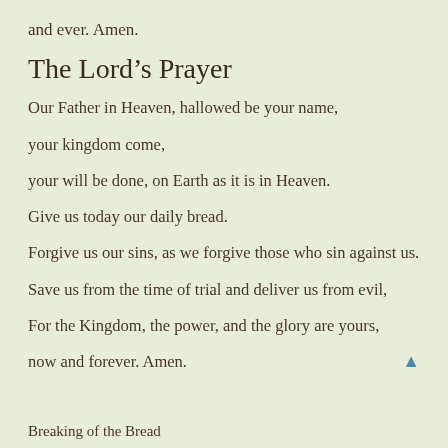and ever.  Amen.
The Lord's Prayer
Our Father in Heaven, hallowed be your name,
your kingdom come,
your will be done, on Earth as it is in Heaven.
Give us today our daily bread.
Forgive us our sins, as we forgive those who sin against us.
Save us from the time of trial and deliver us from evil,
For the Kingdom, the power, and the glory are yours,
now and forever.  Amen.
Breaking of the Bread